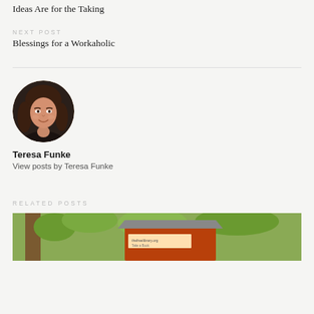Ideas Are for the Taking
NEXT POST
Blessings for a Workaholic
[Figure (photo): Circular portrait photo of Teresa Funke, a woman with dark brown hair, smiling, against a dark background.]
Teresa Funke
View posts by Teresa Funke
RELATED POSTS
[Figure (photo): Photo of a Little Free Library box outdoors with trees and foliage in the background. A sign reads 'thefreelibrary.org - Take a Book'.]